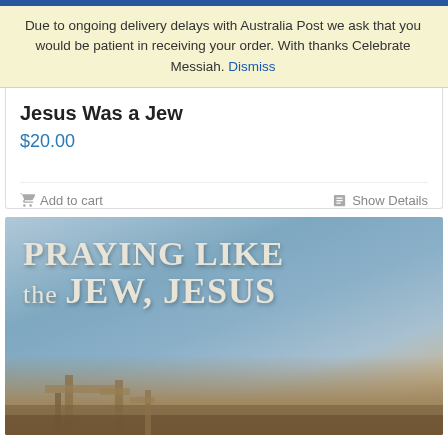Due to ongoing delivery delays with Australia Post we ask that you would be patient in receiving your order. With thanks Celebrate Messiah. Dismiss
Jesus Was a Jew
$20.00
Add to cart   Show Details
[Figure (photo): Book cover for 'Praying Like the Jew, Jesus' showing large white serif text on a blue sky background with ancient ruins at the bottom]